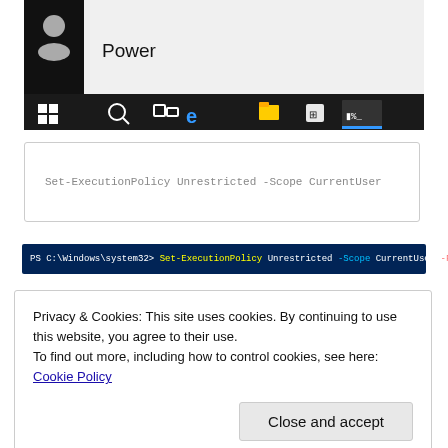[Figure (screenshot): Windows 10 Start Menu showing Power option and taskbar with icons including Windows Start, Search, Task View, Edge, File Explorer, Store, and Command Prompt]
[Figure (screenshot): PowerShell terminal showing command: PS C:\Windows\system32> Set-ExecutionPolicy Unrestricted -Scope CurrentUser -Force]
Set-ExecutionPolicy Unrestricted -Scope CurrentUser
Privacy & Cookies: This site uses cookies. By continuing to use this website, you agree to their use.
To find out more, including how to control cookies, see here: Cookie Policy